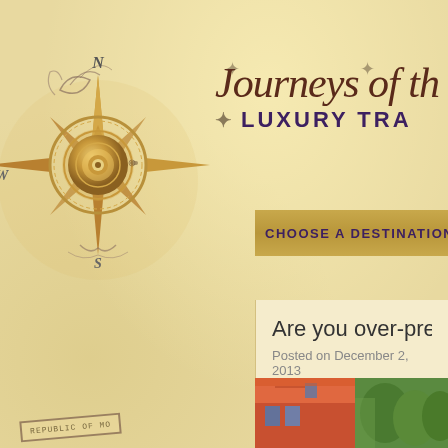[Figure (logo): Ornate compass rose with N/S/W/E cardinal directions, gold and silver decorative design with scrollwork]
Journeys of th… LUXURY TRA…
CHOOSE A DESTINATION   CHOOSE A T…
Are you over-preparing for your vacati…
Posted on December 2, 2013
Planning your vacation is part of the excitement of going… yourself researching all the different options only to find tha… the reading you've done than before? – I know I have.
[Figure (photo): Colorful building facade and green trees, travel destination photo]